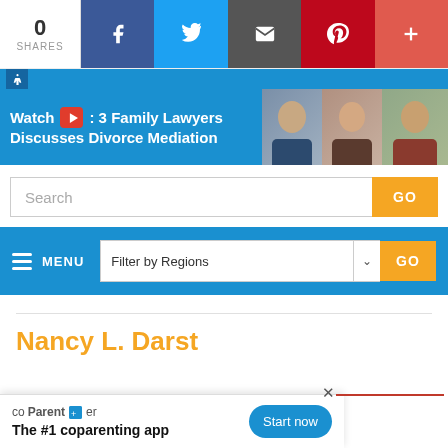0 SHARES
[Figure (screenshot): Share bar with Facebook, Twitter, Email, Pinterest, and more buttons; 0 shares count on left]
[Figure (screenshot): Blue accessibility bar with wheelchair icon]
[Figure (screenshot): Blue banner: Watch YouTube: 3 Family Lawyers Discusses Divorce Mediation, with three lawyer photos on right]
[Figure (screenshot): Search input bar with orange GO button]
[Figure (screenshot): Blue navigation bar with hamburger MENU and Filter by Regions dropdown with orange GO button]
Nancy L. Darst
[Figure (screenshot): coParenter ad popup: The #1 coparenting app, with Start now button and X close button]